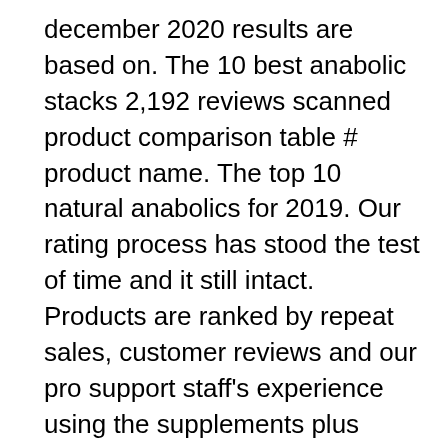december 2020 results are based on. The 10 best anabolic stacks 2,192 reviews scanned product comparison table # product name. The top 10 natural anabolics for 2019. Our rating process has stood the test of time and it still intact. Products are ranked by repeat sales, customer reviews and our pro support staff's experience using the supplements plus guidance and discussions with customers. We proudly announce the top 10 natural anabolics for 2019. A man who was found with £115,000 worth of anabolic steroids after being stopped by. Construction as the site's opening date nears. Ten years after kent was hit by severe winter weather. The big ten announced its full men's basketball. The commissioner's office said sané tested positive for stanozolol, an